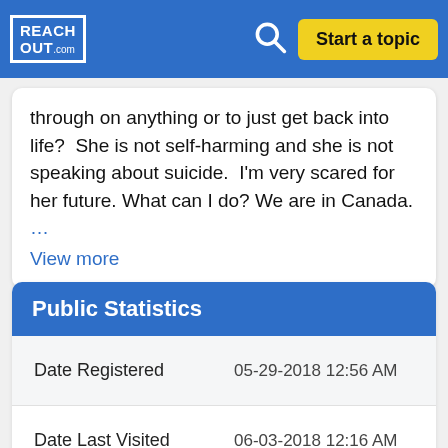REACHOUT.com | Start a topic
through on anything or to just get back into life?   She is not self-harming and she is not speaking about suicide.   I'm very scared for her future. What can I do? We are in Canada. ... View more
Public Statistics
|  |  |
| --- | --- |
| Date Registered | 05-29-2018 12:56 AM |
| Date Last Visited | 06-03-2018 12:16 AM |